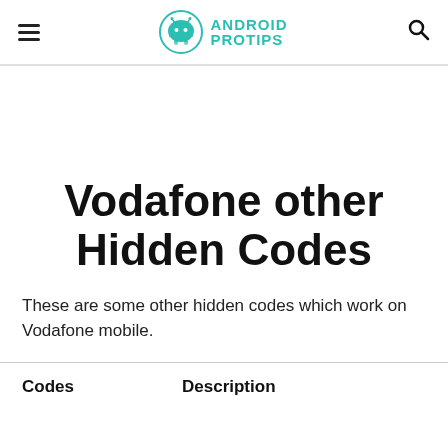Android Pro Tips
Vodafone other Hidden Codes
These are some other hidden codes which work on Vodafone mobile.
| Codes | Description |
| --- | --- |